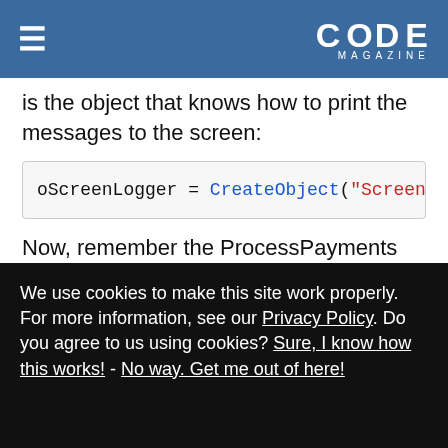CODE Magazine
is the object that knows how to print the messages to the screen:
[Figure (screenshot): Code block showing: oScreenLogger = CreateObject("ScreenLogg]
Now, remember the ProcessPayments method calls the LogProgress method on the LogProgress object? Well, you need a pointer to that method because whenever it fires, you want to call the Log method on the ScreenLogger object. How do you do this? This is
We use cookies to make this site work properly. For more information, see our Privacy Policy. Do you agree to us using cookies? Sure, I know how this works! - No way. Get me out of here!